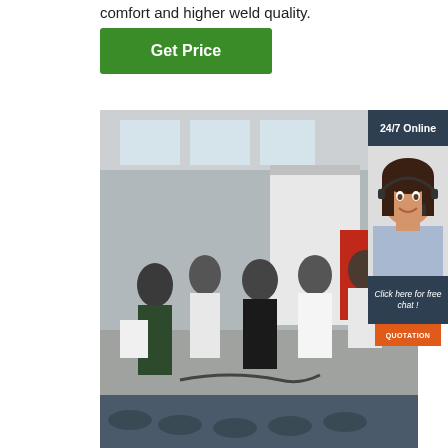comfort and higher weld quality.
Get Price
[Figure (photo): Group of people in an industrial workshop/factory inspecting welding or manufacturing equipment. Several workers and visitors are gathered around machinery, with industrial pipes and equipment visible in the foreground and background.]
24/7 Online
[Figure (photo): Customer service representative, a woman with dark hair wearing a headset, smiling.]
Click here for free chat !
QUOTATION